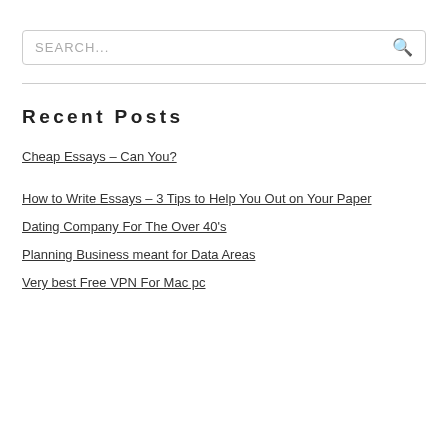SEARCH...
Recent Posts
Cheap Essays – Can You?
How to Write Essays – 3 Tips to Help You Out on Your Paper
Dating Company For The Over 40's
Planning Business meant for Data Areas
Very best Free VPN For Mac pc